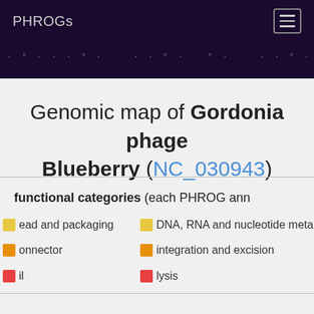PHROGs
Genomic map of Gordonia phage Blueberry (NC_030943)
functional categories (each PHROG ann…
head and packaging
DNA, RNA and nucleotide metabolism
connector
integration and excision
tail
lysis